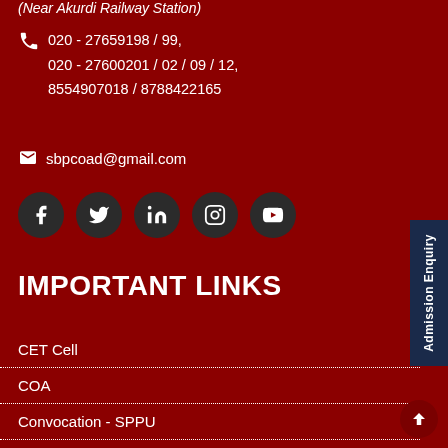(Near Akurdi Railway Station)
020 - 27659198 / 99,
020 - 27600201 / 02 / 09 / 12,
8554907018 / 8788422165
sbpcoad@gmail.com
[Figure (infographic): Social media icons: Facebook, Twitter, LinkedIn, Instagram, YouTube in dark circular buttons]
IMPORTANT LINKS
CET Cell
COA
Convocation - SPPU
Exam - SPPU
NATA
SPPU